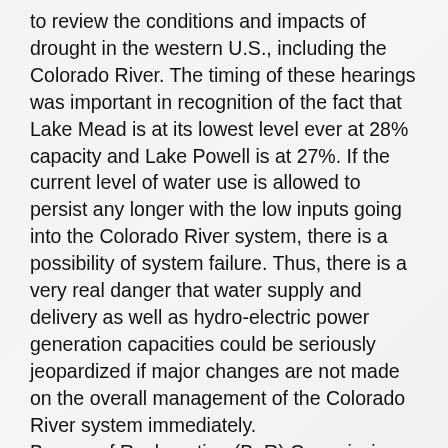to review the conditions and impacts of drought in the western U.S., including the Colorado River. The timing of these hearings was important in recognition of the fact that Lake Mead is at its lowest level ever at 28% capacity and Lake Powell is at 27%. If the current level of water use is allowed to persist any longer with the low inputs going into the Colorado River system, there is a possibility of system failure. Thus, there is a very real danger that water supply and delivery as well as hydro-electric power generation capacities could be seriously jeopardized if major changes are not made on the overall management of the Colorado River system immediately. Bureau of Reclamation (BoR) Commissioner Camille C. Touton described the need to achieve additional reductions on Colorado River allocations. The BoR is engaging in discussions with the seven basin states that depend on the Colorado River to develop a plan for the reductions, and it needs to be done in the next 60 days. As Commission Touton described, the BoR has the